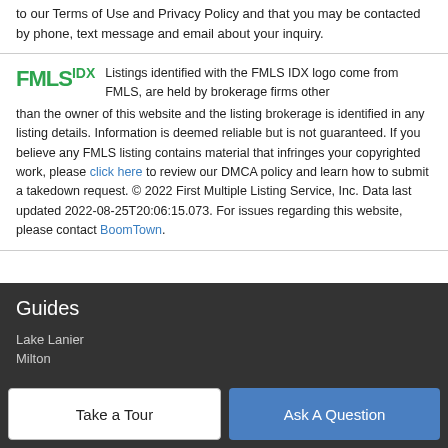to our Terms of Use and Privacy Policy and that you may be contacted by phone, text message and email about your inquiry.
Listings identified with the FMLS IDX logo come from FMLS, are held by brokerage firms other than the owner of this website and the listing brokerage is identified in any listing details. Information is deemed reliable but is not guaranteed. If you believe any FMLS listing contains material that infringes your copyrighted work, please click here to review our DMCA policy and learn how to submit a takedown request. © 2022 First Multiple Listing Service, Inc. Data last updated 2022-08-25T20:06:15.073. For issues regarding this website, please contact BoomTown.
Guides
Lake Lanier
Milton